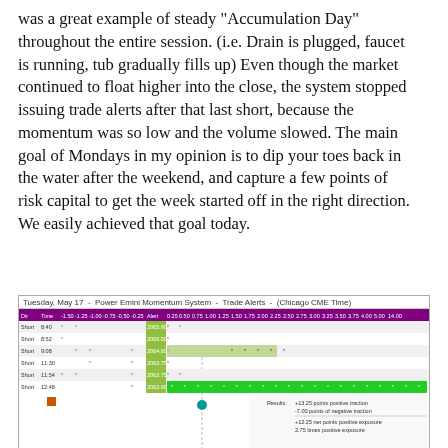was a great example of steady "Accumulation Day" throughout the entire session. (i.e. Drain is plugged, faucet is running, tub gradually fills up) Even though the market continued to float higher into the close, the system stopped issuing trade alerts after that last short, because the momentum was so low and the volume slowed. The main goal of Mondays in my opinion is to dip your toes back in the water after the weekend, and capture a few points of risk capital to get the week started off in the right direction. We easily achieved that goal today.
[Figure (table-as-image): Tuesday, May 17 - Power Emini Momentum System - Trade Alerts - (Chicago CME Time). Table showing Short trade alerts at times 8:40, 8:52, 9:08, 11:30, 11:54, 12:48 with prices 2065.90, 2066.00, 2064.60, 2063.75, 2062.75, 2062.90. Results: +13.25 points positive traction, -7.00 points of negative traction, +12.25 net points positive exposure, 2.75 times positive exposure.]